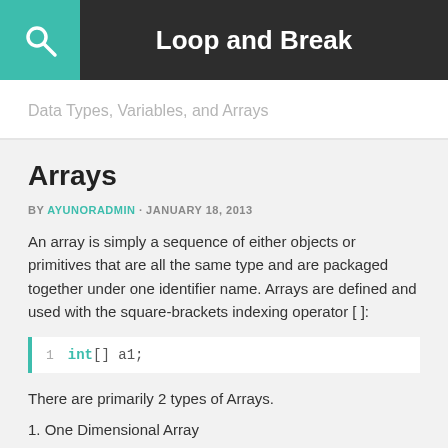Loop and Break
Data Types, Variables, and Arrays
Arrays
BY AYUNORADMIN · JANUARY 18, 2013
An array is simply a sequence of either objects or primitives that are all the same type and are packaged together under one identifier name. Arrays are defined and used with the square-brackets indexing operator [ ]:
There are primarily 2 types of Arrays.
1. One Dimensional Array